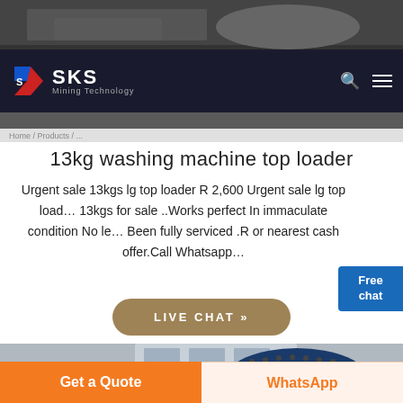[Figure (screenshot): Website screenshot showing SKS Mining Technology header with dark background and machinery image at top]
SKS Mining Technology
13kg washing machine top loader
Urgent sale 13kgs lg top loader R 2,600 Urgent sale lg top loader 13kgs for sale ..Works perfect In immaculate condition No le... Been fully serviced .R or nearest cash offer.Call Whatsapp...
[Figure (photo): Industrial mining machinery (rotary drum/ball mill) in a factory warehouse setting with blue and grey metal components]
LIVE CHAT »
Get a Quote
WhatsApp